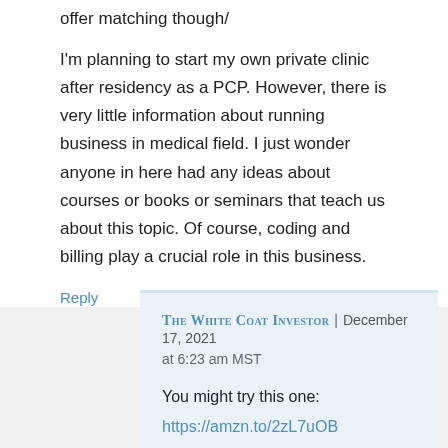offer matching though/
I'm planning to start my own private clinic after residency as a PCP. However, there is very little information about running business in medical field. I just wonder anyone in here had any ideas about courses or books or seminars that teach us about this topic. Of course, coding and billing play a crucial role in this business.
Reply
The White Coat Investor | December 17, 2021 at 6:23 am MST
You might try this one:
https://amzn.to/2zL7uOB